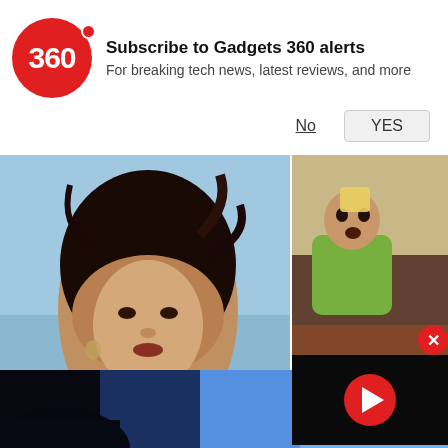[Figure (screenshot): Gadgets 360 logo — red circle with '360' text and red dot]
Subscribe to Gadgets 360 alerts
For breaking tech news, latest reviews, and more
No   YES
[Figure (photo): Photo of a woman (Priyanka Chopra) with dark upswept hair wearing a dark outfit, blue sky and water in background]
[Figure (photo): Photo of a young child in a green t-shirt sitting at a table]
[Figure (screenshot): Video player overlay with dark background and red play button]
iyanka Chopra Gets "Taste Of Home" In LA, Courtesy Boney And Khushi .poor
TV Food
[Figure (photo): Bottom strip photo showing dark foreground object with bright blue sky background]